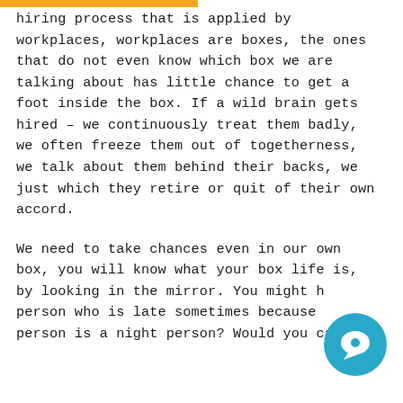hiring process that is applied by workplaces, workplaces are boxes, the ones that do not even know which box we are talking about has little chance to get a foot inside the box. If a wild brain gets hired – we continuously treat them badly, we often freeze them out of togetherness, we talk about them behind their backs, we just which they retire or quit of their own accord.

We need to take chances even in our own box, you will know what your box life is, by looking in the mirror. You might h person who is late sometimes because person is a night person? Would you call